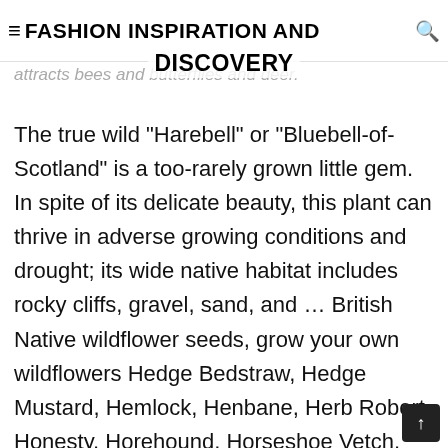≡ FASHION INSPIRATION AND DISCOVERY
attracts bees and butterflies and deer. The true wild "Harebell" or "Bluebell-of-Scotland" is a too-rarely grown little gem. In spite of its delicate beauty, this plant can thrive in adverse growing conditions and drought; its wide native habitat includes rocky cliffs, gravel, sand, and … British Native wildflower seeds, grow your own wildflowers Hedge Bedstraw, Hedge Mustard, Hemlock, Henbane, Herb Robert, Honesty, Horehound, Horseshoe Vetch, Iris seeds Wildflower seeds - Harebell, Bluebell of Scotland to Jacobs Ladder Any trade in wild